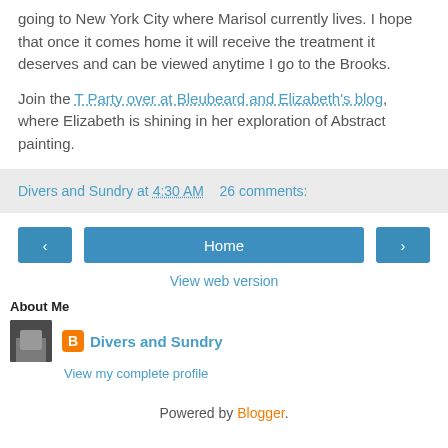going to New York City where Marisol currently lives. I hope that once it comes home it will receive the treatment it deserves and can be viewed anytime I go to the Brooks.
Join the T Party over at Bleubeard and Elizabeth's blog, where Elizabeth is shining in her exploration of Abstract painting.
Divers and Sundry at 4:30 AM   26 comments:
[Figure (screenshot): Navigation buttons: left arrow, Home, right arrow]
View web version
About Me
Divers and Sundry
View my complete profile
Powered by Blogger.